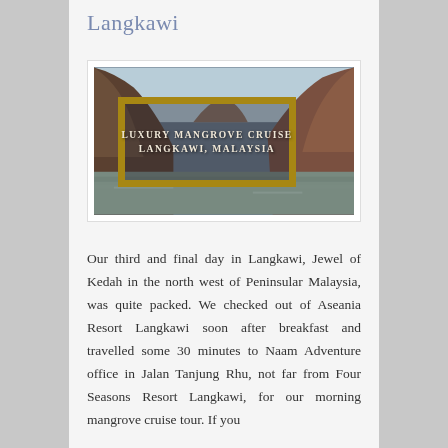Langkawi
[Figure (photo): Luxury mangrove cruise Langkawi, Malaysia - photo showing rocky limestone islands and water with a yellow bordered overlay text frame reading 'LUXURY MANGROVE CRUISE LANGKAWI, MALAYSIA']
Our third and final day in Langkawi, Jewel of Kedah in the north west of Peninsular Malaysia, was quite packed. We checked out of Aseania Resort Langkawi soon after breakfast and travelled some 30 minutes to Naam Adventure office in Jalan Tanjung Rhu, not far from Four Seasons Resort Langkawi, for our morning mangrove cruise tour. If you